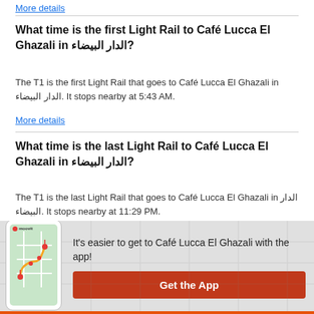More details
What time is the first Light Rail to Café Lucca El Ghazali in الدار البيضاء?
The T1 is the first Light Rail that goes to Café Lucca El Ghazali in الدار البيضاء. It stops nearby at 5:43 AM.
More details
What time is the last Light Rail to Café Lucca El Ghazali in الدار البيضاء?
The T1 is the last Light Rail that goes to Café Lucca El Ghazali in الدار البيضاء. It stops nearby at 11:29 PM.
[Figure (infographic): Moovit app promotion banner with phone showing map route and Get the App button]
It's easier to get to Café Lucca El Ghazali with the app!
Get the App